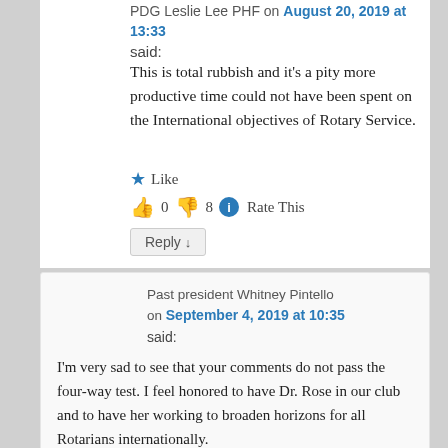PDG Leslie Lee PHF on August 20, 2019 at 13:33 said:
This is total rubbish and it's a pity more productive time could not have been spent on the International objectives of Rotary Service.
★ Like
👍 0 👎 8 ℹ Rate This
Reply ↓
Past president Whitney Pintello on September 4, 2019 at 10:35 said:
I'm very sad to see that your comments do not pass the four-way test. I feel honored to have Dr. Rose in our club and to have her working to broaden horizons for all Rotarians internationally.